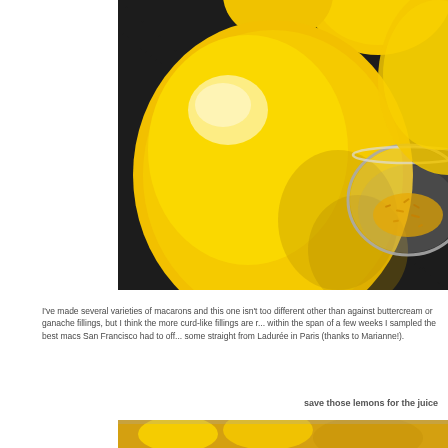[Figure (photo): Close-up photo of bright yellow lemons on a dark black background, with a glass bowl containing yellow lemon zest on the right side.]
I've made several varieties of macarons and this one isn't too different other than against buttercream or ganache fillings, but I think the more curd-like fillings are r... within the span of a few weeks I sampled the best macs San Francisco had to off... some straight from Ladurée in Paris (thanks to Marianne!).
save those lemons for the juice
[Figure (photo): Partial view of lemons and kitchen items, bottom portion of page.]